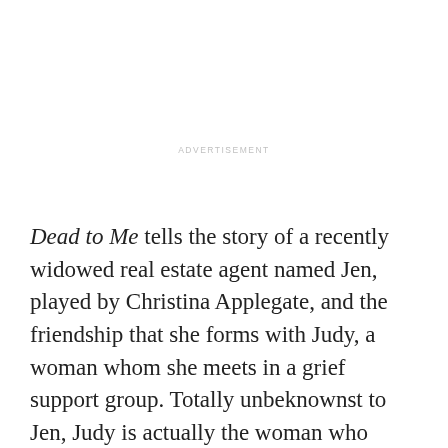ADVERTISEMENT
[Figure (photo): Purple-toned advertisement banner image with abstract blurred purple and mauve tones]
Dead to Me tells the story of a recently widowed real estate agent named Jen, played by Christina Applegate, and the friendship that she forms with Judy, a woman whom she meets in a grief support group. Totally unbeknownst to Jen, Judy is actually the woman who killed her husband. As both women deal with their separate traumas in